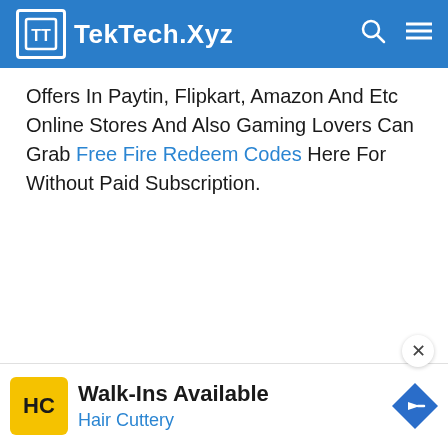TekTech.Xyz
Offers In Paytin, Flipkart, Amazon And Etc Online Stores And Also Gaming Lovers Can Grab Free Fire Redeem Codes Here For Without Paid Subscription.
[Figure (other): Advertisement banner for Hair Cuttery with logo, 'Walk-Ins Available' headline, and navigation arrow icon]